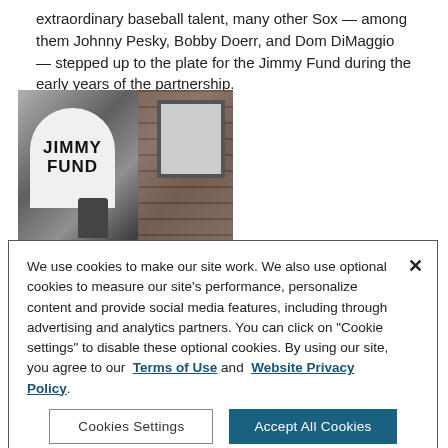extraordinary baseball talent, many other Sox — among them Johnny Pesky, Bobby Doerr, and Dom DiMaggio — stepped up to the plate for the Jimmy Fund during the early years of the partnership.
[Figure (photo): Black and white photograph of a Jimmy Fund coin collection sign shaped like a baseball home plate, mounted near a brick wall with a window frame visible in the background.]
We use cookies to make our site work. We also use optional cookies to measure our site's performance, personalize content and provide social media features, including through advertising and analytics partners. You can click on "Cookie settings" to disable these optional cookies. By using our site, you agree to our Terms of Use and Website Privacy Policy.